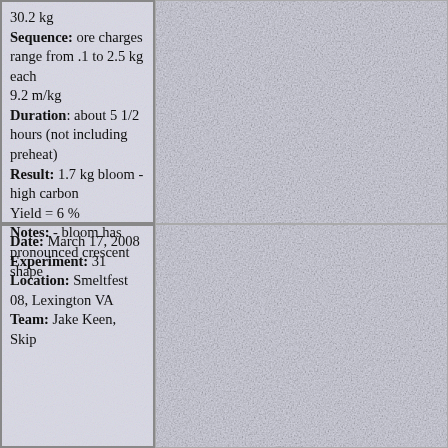30.2 kg Sequence: ore charges range from .1 to 2.5 kg each 9.2 m/kg Duration: about 5 1/2 hours (not including preheat) Result: 1.7 kg bloom - high carbon Yield = 6 % Notes: - bloom has pronounced crescent shape
[Figure (photo): Right column top cell - parchment/fabric texture background, light lavender-gray]
Date: March 17, 2008 Experiment: 31 Location: Smeltfest 08, Lexington VA Team: Jake Keen, Skip
[Figure (photo): Right column bottom cell - parchment/fabric texture background, light lavender-gray]